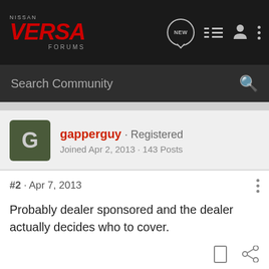[Figure (screenshot): Nissan Versa Forums navigation bar with logo, NEW bubble icon, list icon, user icon, and dots menu]
Search Community
gapperguy · Registered
Joined Apr 2, 2013 · 143 Posts
#2 · Apr 7, 2013
Probably dealer sponsored and the dealer actually decides who to cover.
shield1561 · Registered